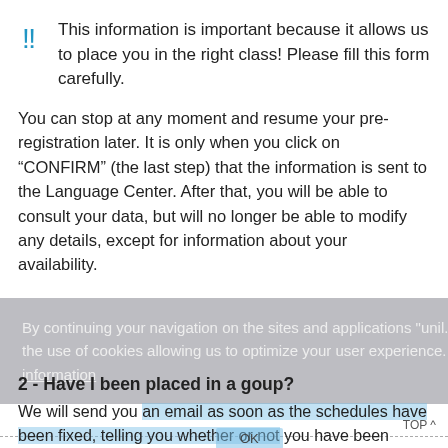This information is important because it allows us to place you in the right class! Please fill this form carefully.
You can stop at any moment and resume your pre-registration later. It is only when you click on “CONFIRM” (the last step) that the information is sent to the Language Center. After that, you will be able to consult your data, but will no longer be able to modify any details, except for information about your availability.
By continuing your navigation on the sites and applications "unil.ch", you accept the use of cookies allowing us to optimize your user experience. Read the legal information
2 - Have I been placed in a goup?
We will send you an email as soon as the schedules have been fixed, telling you whether or not you have been placed in a group. You can also consult your data online (from our